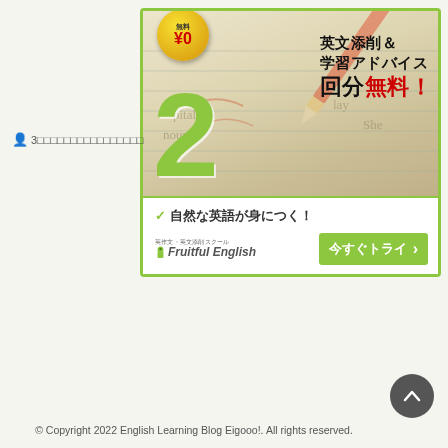[Figure (infographic): Advertisement banner for Fruitful English: shows a golden badge with 無料 ¥0, large green '2', Japanese text '英文添削＆学習アドバイス 2回分無料！', checkmark text '自然な英語が身につく！', Fruitful English logo, and a green '今すぐトライ >' button. Background shows a notebook page with a red pencil.]
3□□□□□□□□□□□□□□□□
© Copyright 2022 English Learning Blog Eigooo!. All rights reserved.